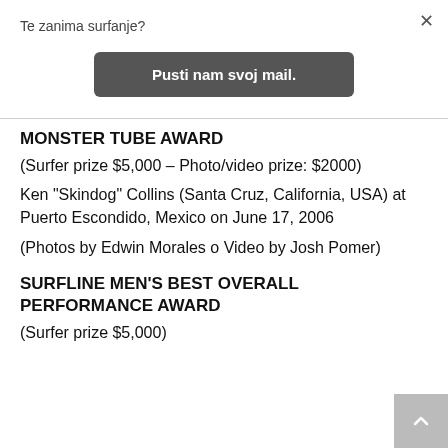Te zanima surfanje?
Pusti nam svoj mail.
MONSTER TUBE AWARD
(Surfer prize $5,000 – Photo/video prize: $2000)
Ken "Skindog" Collins (Santa Cruz, California, USA) at Puerto Escondido, Mexico on June 17, 2006
(Photos by Edwin Morales o Video by Josh Pomer)
SURFLINE MEN'S BEST OVERALL PERFORMANCE AWARD
(Surfer prize $5,000)